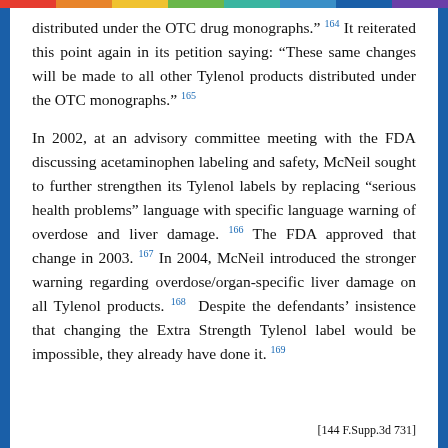distributed under the OTC drug monographs." 164 It reiterated this point again in its petition saying: "These same changes will be made to all other Tylenol products distributed under the OTC monographs." 165
In 2002, at an advisory committee meeting with the FDA discussing acetaminophen labeling and safety, McNeil sought to further strengthen its Tylenol labels by replacing "serious health problems" language with specific language warning of overdose and liver damage. 166 The FDA approved that change in 2003. 167 In 2004, McNeil introduced the stronger warning regarding overdose/organ-specific liver damage on all Tylenol products. 168 Despite the defendants' insistence that changing the Extra Strength Tylenol label would be impossible, they already have done it. 169
[144 F.Supp.3d 731]